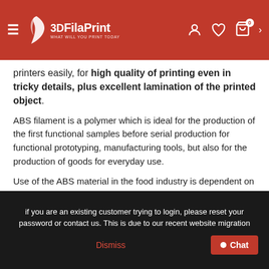3DFilaPrint — WHAT WILL YOU PRINT TODAY
printers easily, for high quality of printing even in tricky details, plus excellent lamination of the printed object.
ABS filament is a polymer which is ideal for the production of the first functional samples before serial production for functional prototyping, manufacturing tools, but also for the production of goods for everyday use.
Use of the ABS material in the food industry is dependent on the final product and responsibility for use is on the user of ABS Extrafill. ABS is not intended for medical applications.
Fillamentum guarantees high precision of filament
if you are an existing customer trying to login, please reset your password or contact us. This is due to our recent website migration
Dismiss
Chat